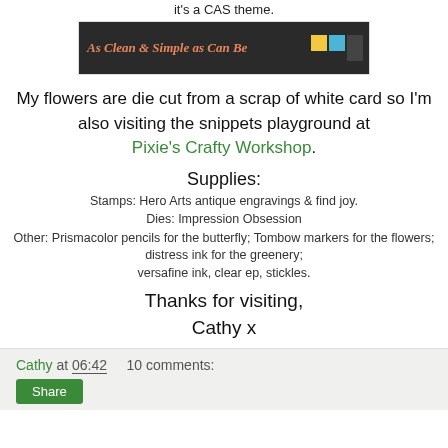it's a CAS theme.
[Figure (illustration): Dark banner image with cursive text reading 'As Clean & Simple as Can Be' with colored squares on the right side]
My flowers are die cut from a scrap of white card so I'm also visiting the snippets playground at Pixie's Crafty Workshop.
Supplies:
Stamps: Hero Arts antique engravings & find joy.
Dies: Impression Obsession
Other: Prismacolor pencils for the butterfly; Tombow markers for the flowers; distress ink for the greenery; versafine ink, clear ep, stickles.
Thanks for visiting,
Cathy x
Cathy at 06:42   10 comments:
Share